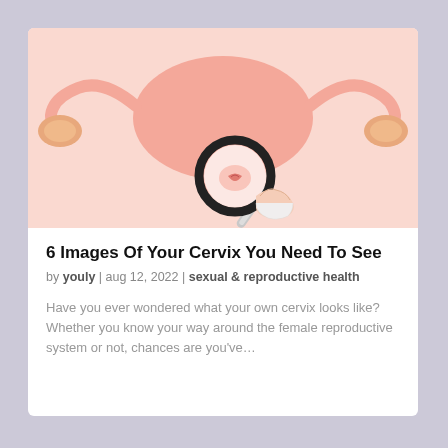[Figure (illustration): Medical illustration of the female reproductive system (uterus and ovaries) with a hand holding a magnifying glass over the cervix area, depicted in soft pink tones on a light pink background.]
6 Images Of Your Cervix You Need To See
by youly | aug 12, 2022 | sexual & reproductive health
Have you ever wondered what your own cervix looks like? Whether you know your way around the female reproductive system or not, chances are you've…